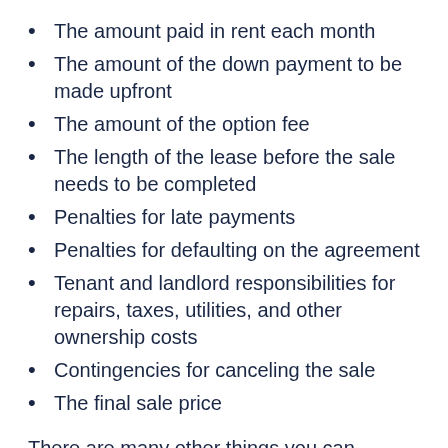The amount paid in rent each month
The amount of the down payment to be made upfront
The amount of the option fee
The length of the lease before the sale needs to be completed
Penalties for late payments
Penalties for defaulting on the agreement
Tenant and landlord responsibilities for repairs, taxes, utilities, and other ownership costs
Contingencies for canceling the sale
The final sale price
There are many other things you can include in your rent to own agreement, but the above items should be at the top of the list. Ask your lawyer, agent, or consultant about anything you may have overlooked